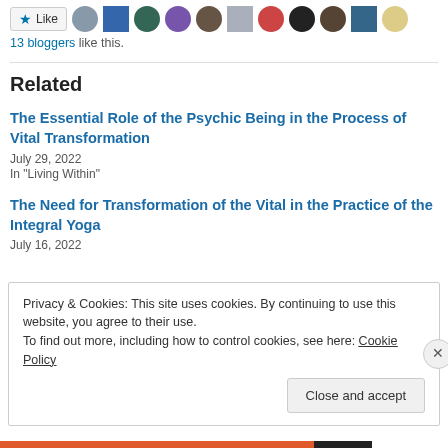[Figure (other): Like button with star icon followed by a row of blogger avatar thumbnails]
13 bloggers like this.
Related
The Essential Role of the Psychic Being in the Process of Vital Transformation
July 29, 2022
In "Living Within"
The Need for Transformation of the Vital in the Practice of the Integral Yoga
July 16, 2022
Privacy & Cookies: This site uses cookies. By continuing to use this website, you agree to their use.
To find out more, including how to control cookies, see here: Cookie Policy
Close and accept